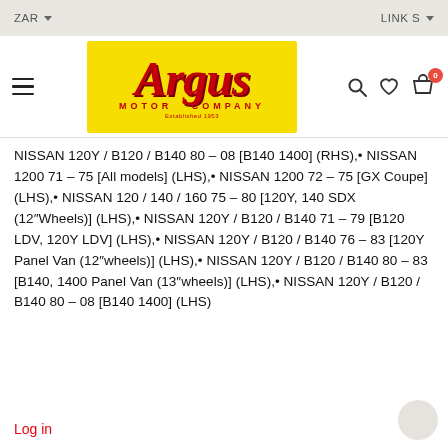ZAR ▾   LINKS ▾
[Figure (logo): Argus Motor Company logo — yellow background, red cursive Argus text, 'MOTOR COMPANY Established 1953' below]
NISSAN 120Y / B120 / B140 80 – 08 [B140 1400] (RHS),• NISSAN 1200 71 – 75 [All models] (LHS),• NISSAN 1200 72 – 75 [GX Coupe] (LHS),• NISSAN 120 / 140 / 160 75 – 80 [120Y, 140 SDX (12″Wheels)] (LHS),• NISSAN 120Y / B120 / B140 71 – 79 [B120 LDV, 120Y LDV] (LHS),• NISSAN 120Y / B120 / B140 76 – 83 [120Y Panel Van (12″wheels)] (LHS),• NISSAN 120Y / B120 / B140 80 – 83 [B140, 1400 Panel Van (13″wheels)] (LHS),• NISSAN 120Y / B120 / B140 80 – 08 [B140 1400] (LHS)
Log in